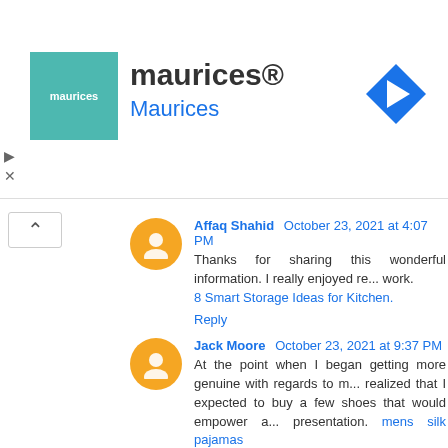[Figure (logo): maurices brand logo - teal square with white text 'maurices']
maurices®
Maurices
Affaq Shahid  October 23, 2021 at 4:07 PM
Thanks for sharing this wonderful information. I really enjoyed re... work.
8 Smart Storage Ideas for Kitchen.
Reply
Jack Moore  October 23, 2021 at 9:37 PM
At the point when I began getting more genuine with regards to m... realized that I expected to buy a few shoes that would empower a... presentation. mens silk pajamas
Reply
sevou  November 15, 2021 at 6:51 PM
Take a gander at their qualities and how expertly they are working... reach them through online media pages or on telephone. New bra... questions from possibilities. Get all the data you really want...